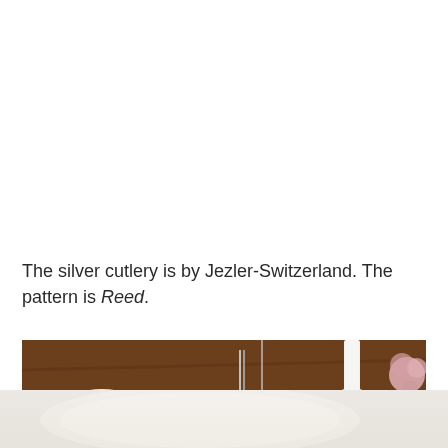The silver cutlery is by Jezler-Switzerland. The pattern is Reed.
[Figure (photo): Close-up photograph of a dining table with floral porcelain dishes, silver candlestick holders, and glasses on a dark wooden surface.]